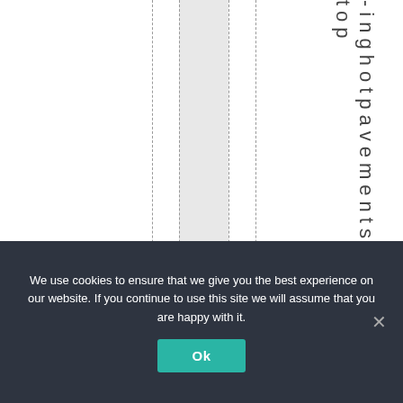[Figure (other): Document layout with dashed vertical guide lines, a shaded column, and vertical text reading 'inghotpavements top' running down the right side of the page.]
We use cookies to ensure that we give you the best experience on our website. If you continue to use this site we will assume that you are happy with it.